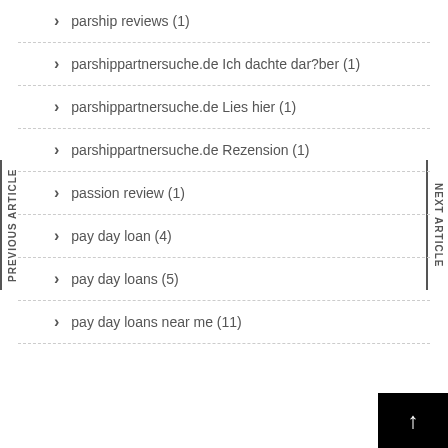parship reviews (1)
parshippartnersuche.de Ich dachte dar?ber (1)
parshippartnersuche.de Lies hier (1)
parshippartnersuche.de Rezension (1)
passion review (1)
pay day loan (4)
pay day loans (5)
pay day loans near me (11)